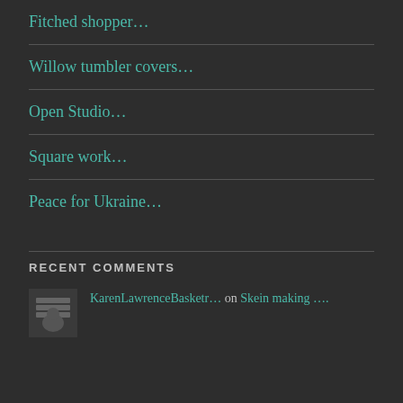Fitched shopper…
Willow tumbler covers…
Open Studio…
Square work…
Peace for Ukraine…
RECENT COMMENTS
KarenLawrenceBasketr… on Skein making ….